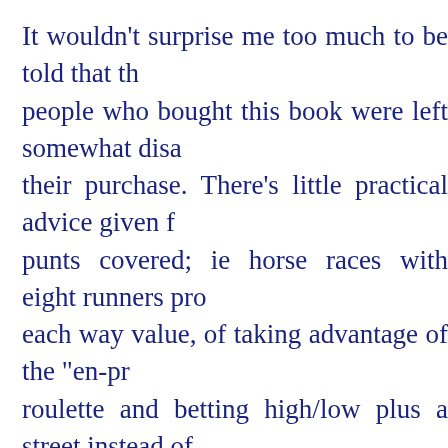It wouldn't surprise me too much to be told that the people who bought this book were left somewhat disappointed their purchase. There's little practical advice given for punts covered; ie horse races with eight runners providing each way value, of taking advantage of the "en-prison" roulette and betting high/low plus a street instead of "dozens", of the odds of chasing straights and flushes. As to the explanation of commodity trading processes, I'm with this one, and can't see how any common or garden gambler of the time would have been in the slightest interested. I suspect this was included more due to the author's interest in an allied "risk" activity than because of any perceived need amongst his potential readership?
Overall, although Focus on Gambling is an interesting sixty years and contains some thought provoking numbers